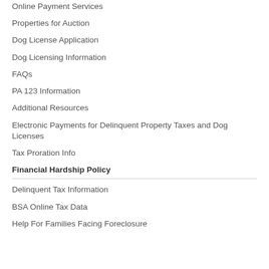Online Payment Services
Properties for Auction
Dog License Application
Dog Licensing Information
FAQs
PA 123 Information
Additional Resources
Electronic Payments for Delinquent Property Taxes and Dog Licenses
Tax Proration Info
Financial Hardship Policy
Delinquent Tax Information
BSA Online Tax Data
Help For Families Facing Foreclosure